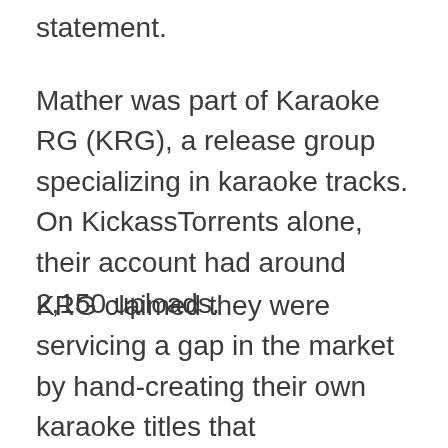statement.
Mather was part of Karaoke RG (KRG), a release group specializing in karaoke tracks. On KickassTorrents alone, their account had around 2,150 uploads.
KRG claimed they were servicing a gap in the market by hand-creating their own karaoke titles that